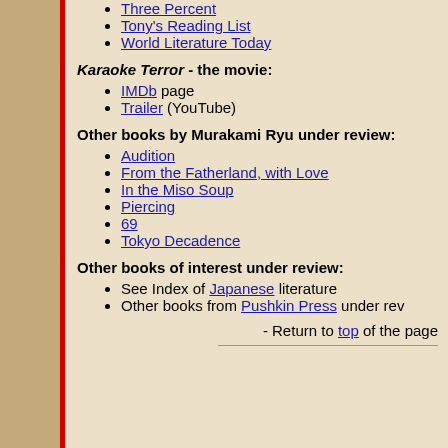Three Percent
Tony's Reading List
World Literature Today
Karaoke Terror - the movie:
IMDb page
Trailer (YouTube)
Other books by Murakami Ryu under review
Audition
From the Fatherland, with Love
In the Miso Soup
Piercing
69
Tokyo Decadence
Other books of interest under review:
See Index of Japanese literature
Other books from Pushkin Press under rev...
- Return to top of the page